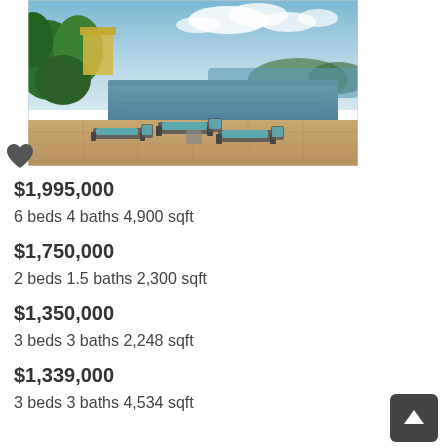[Figure (photo): Aerial/elevated view of an infinity pool with lounge chairs and tropical landscape and ocean/bay view in the background]
$1,995,000
6 beds 4 baths 4,900 sqft
$1,750,000
2 beds 1.5 baths 2,300 sqft
$1,350,000
3 beds 3 baths 2,248 sqft
$1,339,000
3 beds 3 baths 4,534 sqft